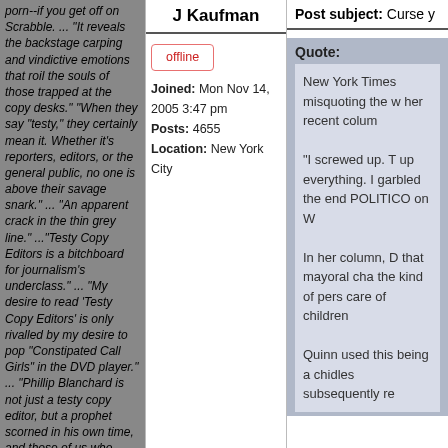porn--if you get off on Scrabble. ... "It reveals the backstage carping and vindictive emotions that roil the souls of those trapped at the copy desks." "When they say "testy," they certainly mean it. Whether it's reporters, editors, or the general public, no one is above their savage snark." ... "An apparent crack in the thin grey line." ..."Testy Copy Editors is a bitchboard for journalism's underclass." ... "My desire to read 'Testy Copy Editors' is only rivalled by my desire to pop "Constipated Call Girls" in the DVD player." ... "Phillip Blanchard is not just a testy copy editor, but a prophet scorned in his own time, and those of us who defend wordplay will be punished for it come the Judgment Day." ... "Phil Blanchard is as dashing in person as he is at the TCE board." ... "As far as writing and editing go: Read this board, read Bill Walsh, memorize the style book, read William Zinsser, and read the New York Times. That's a good start." ... "You should let go of your bitterness. You were not the oppressed talent you thought yourself to be. You were a miserable, brooding, silent, joyless grind, lucky to have a job at the Sun-Times, and we're
J Kaufman
offline
Joined: Mon Nov 14, 2005 3:47 pm
Posts: 4655
Location: New York City
Post subject: Curse y
Quote:
New York Times misquoting the w her recent colum

"I screwed up. T up everything. I garbled the end POLITICO on W

In her column, D that mayoral cha the kind of pers care of children

Quinn used this being a chidles subsequently re